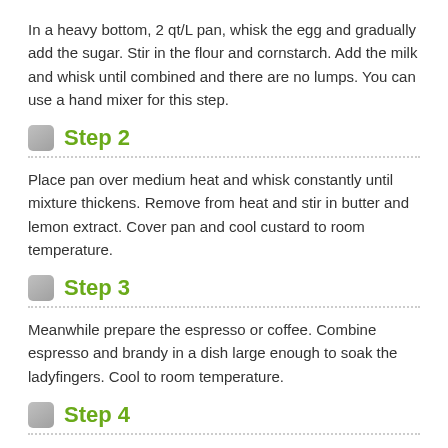In a heavy bottom, 2 qt/L pan, whisk the egg and gradually add the sugar. Stir in the flour and cornstarch. Add the milk and whisk until combined and there are no lumps. You can use a hand mixer for this step.
Step 2
Place pan over medium heat and whisk constantly until mixture thickens. Remove from heat and stir in butter and lemon extract. Cover pan and cool custard to room temperature.
Step 3
Meanwhile prepare the espresso or coffee. Combine espresso and brandy in a dish large enough to soak the ladyfingers. Cool to room temperature.
Step 4
Dip the top and bottom of each ladyfinger into the coffee mixture